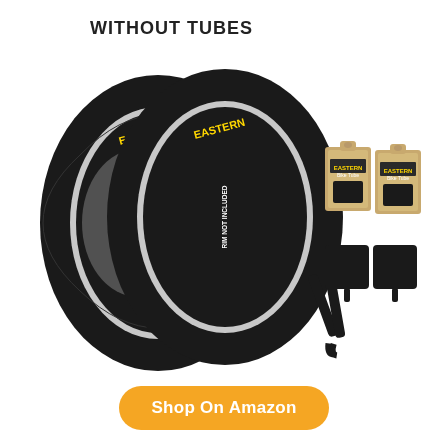WITHOUT TUBES
[Figure (photo): Two black BMX tires with yellow EASTERN branding, labeled RIM NOT INCLUDED, alongside two Bike Tube boxes and tire levers on white background]
Shop On Amazon